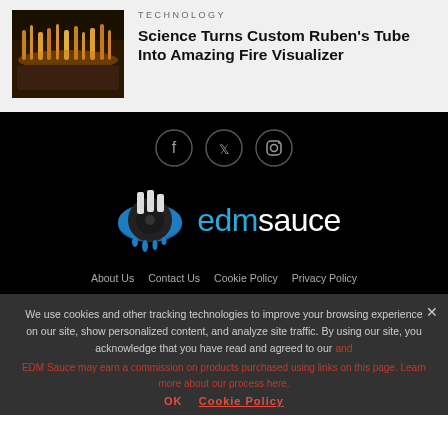[Figure (photo): Close-up photo of a Ruben's tube with fire patterns on top, glowing golden-orange against dark background]
TECHNOLOGY
Science Turns Custom Ruben's Tube Into Amazing Fire Visualizer
[Figure (logo): EDMSauce website logo with social media icons (Facebook, Twitter, Instagram) and the edmsauce dripping logo in blue and white on black background]
About Us   Contact Us   Cookie Policy   Privacy Policy
We use cookies and other tracking technologies to improve your browsing experience on our site, show personalized content, and analyze site traffic. By using our site, you acknowledge that you have read and agreed to our and
EDM Sauce may earn a commission on products purchased using links on this page. Learn more about our process here.
OK   Cookie Policy